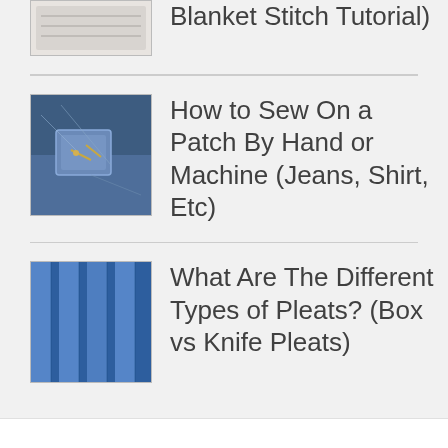[Figure (photo): Small thumbnail image of fabric/blanket stitch material, white/grey tones, partially visible at top]
Blanket Stitch Tutorial)
[Figure (photo): Thumbnail image of denim jeans fabric with a patch being sewn on, blue/dark tones]
How to Sew On a Patch By Hand or Machine (Jeans, Shirt, Etc)
[Figure (photo): Thumbnail image of blue pleated fabric/skirt showing box or knife pleats]
What Are The Different Types of Pleats? (Box vs Knife Pleats)